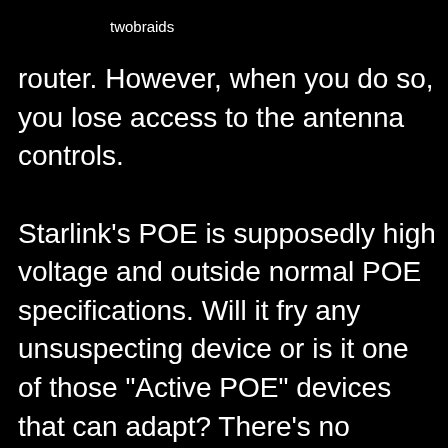twobraids
router. However, when you do so, you lose access to the antenna controls.

Starlink's POE is supposedly high voltage and outside normal POE specifications. Will it fry any unsuspecting device or is it one of those "Active POE" devices that can adapt? There's no documentation, my only option was to experiment. I connected a sacrificial ethernet switch and an RPi to see if the white router port was set to stun or kill. Nothing blew up. I did notice that a device plugged into that port was assigned a 192.168.100.X address. The